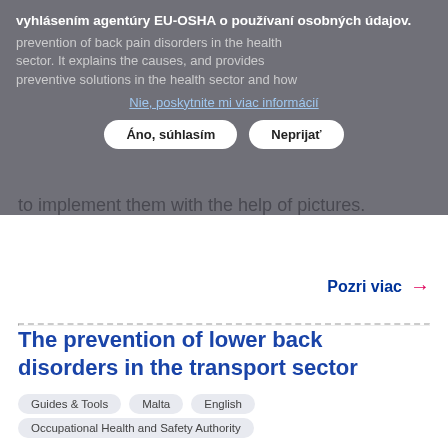[Figure (screenshot): Cookie consent overlay banner in Slovak language with buttons 'Áno, súhlasím' and 'Neprijať' and a link 'Nie, poskytnite mi viac informácií']
to implement them with the help of pictures.
Pozri viac →
The prevention of lower back disorders in the transport sector
Guides & Tools
Malta
English
Occupational Health and Safety Authority
This guide provides information on why a prevention policy needs to be implemented for the prevention of back pain disorders in the transport sector. It explains the causes, and provides